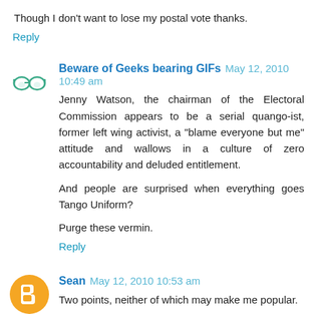Though I don't want to lose my postal vote thanks.
Reply
Beware of Geeks bearing GIFs  May 12, 2010 10:49 am
Jenny Watson, the chairman of the Electoral Commission appears to be a serial quango-ist, former left wing activist, a "blame everyone but me" attitude and wallows in a culture of zero accountability and deluded entitlement.

And people are surprised when everything goes Tango Uniform?

Purge these vermin.
Reply
Sean  May 12, 2010 10:53 am
Two points, neither of which may make me popular.